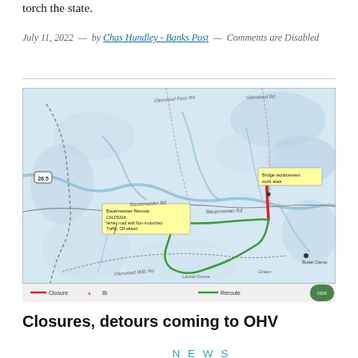torch the state.
July 11, 2022 — by Chas Hundley - Banks Post — Comments are Disabled
[Figure (map): Map showing OHV trail closures and reroute in a forested area. Red line indicates closure, green line indicates reroute. Yellow callout boxes label 'Bauermeister Reroute CALFS324, Ferries road with Non-motorized Traffic, CR ahead' and 'Bridge replacement work area'. Legend shows Closure, Bridge, and Reroute symbols.]
Closures, detours coming to OHV